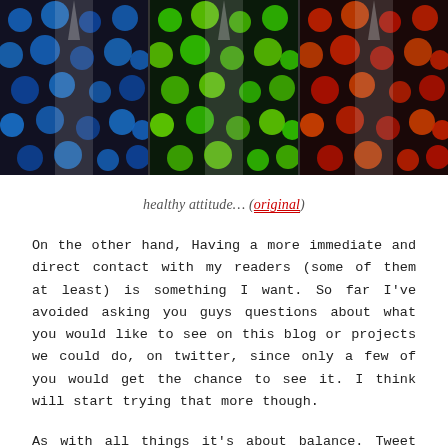[Figure (photo): Three panel image showing anime-style figures wearing colorful polka-dot patterned shirts/outfits. Left panel has blue/dark polka dots, middle panel has green polka dots, right panel has red/orange polka dots. Dark background with partial figure visible.]
healthy attitude… (original)
On the other hand, Having a more immediate and direct contact with my readers (some of them at least) is something I want. So far I've avoided asking you guys questions about what you would like to see on this blog or projects we could do, on twitter, since only a few of you would get the chance to see it. I think will start trying that more though.
As with all things it's about balance. Tweet too much and information gets buried in the deluge (brave new world),